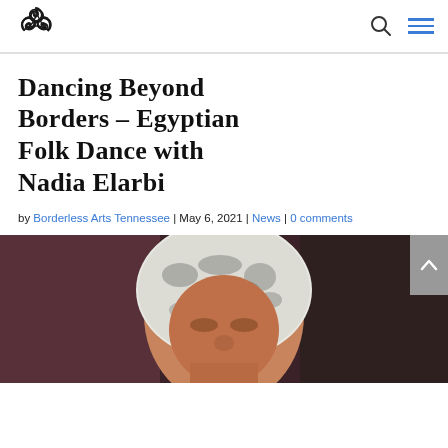Borderless Arts Tennessee — logo and navigation
Dancing Beyond Borders – Egyptian Folk Dance with Nadia Elarbi
by Borderless Arts Tennessee | May 6, 2021 | News | 0 comments
[Figure (photo): Close-up photo of Nadia Elarbi wearing a white and black patterned hijab, partial view cropped at bottom of page]